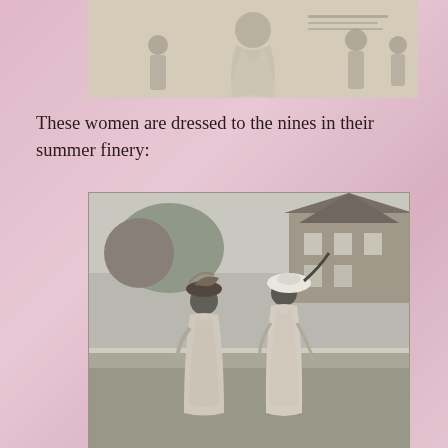[Figure (illustration): Vintage fashion illustration showing women in early 20th century summer dresses and hats, with figures in various poses and outfits]
These women are dressed to the nines in their summer finery:
[Figure (photo): Black and white photograph of two women seen from behind, wearing long summer dresses and large decorative hats, standing outdoors in front of a Tudor-style building]